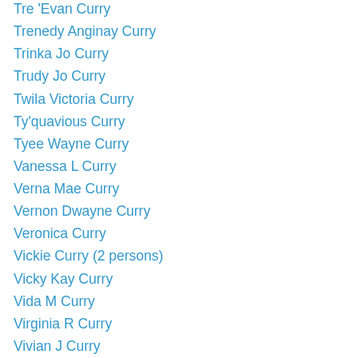Tre 'Evan Curry
Trenedy Anginay Curry
Trinka Jo Curry
Trudy Jo Curry
Twila Victoria Curry
Ty'quavious Curry
Tyee Wayne Curry
Vanessa L Curry
Verna Mae Curry
Vernon Dwayne Curry
Veronica Curry
Vickie Curry (2 persons)
Vicky Kay Curry
Vida M Curry
Virginia R Curry
Vivian J Curry
Wanda Carol Curry
Wendolyn A Curry